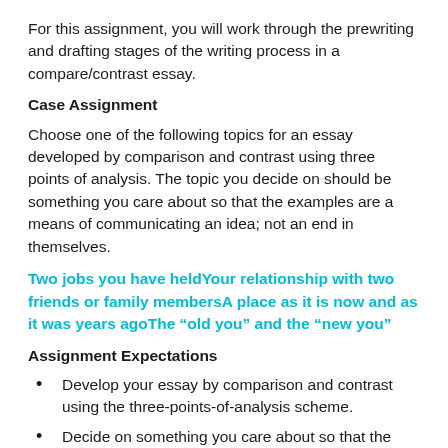For this assignment, you will work through the prewriting and drafting stages of the writing process in a compare/contrast essay.
Case Assignment
Choose one of the following topics for an essay developed by comparison and contrast using three points of analysis. The topic you decide on should be something you care about so that the examples are a means of communicating an idea; not an end in themselves.
Two jobs you have heldYour relationship with two friends or family membersA place as it is now and as it was years agoThe “old you” and the “new you”
Assignment Expectations
Develop your essay by comparison and contrast using the three-points-of-analysis scheme.
Decide on something you care about so that the narration is a means of communicating an idea.
Include characters, conflict, and sensory details as